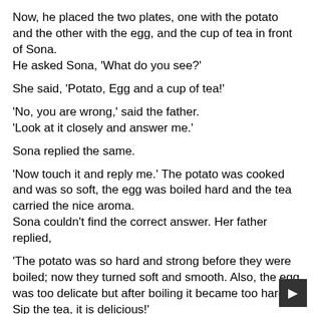Now, he placed the two plates, one with the potato and the other with the egg, and the cup of tea in front of Sona.
He asked Sona, 'What do you see?'
She said, 'Potato, Egg and a cup of tea!'
'No, you are wrong,' said the father.
'Look at it closely and answer me.'
Sona replied the same.
'Now touch it and reply me.' The potato was cooked and was so soft, the egg was boiled hard and the tea carried the nice aroma.
Sona couldn't find the correct answer. Her father replied,
'The potato was so hard and strong before they were boiled; now they turned soft and smooth. Also, the egg was too delicate but after boiling it became too hard. Sip the tea, it is delicious!'
Sona asked, 'What does it mean father? I don't understand!'